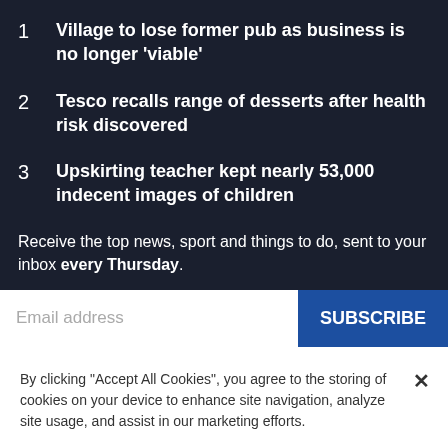1 Village to lose former pub as business is no longer 'viable'
2 Tesco recalls range of desserts after health risk discovered
3 Upskirting teacher kept nearly 53,000 indecent images of children
Receive the top news, sport and things to do, sent to your inbox every Thursday.
Email address
SUBSCRIBE
By clicking "Accept All Cookies", you agree to the storing of cookies on your device to enhance site navigation, analyze site usage, and assist in our marketing efforts.
Cookies Settings
Accept All Cookies